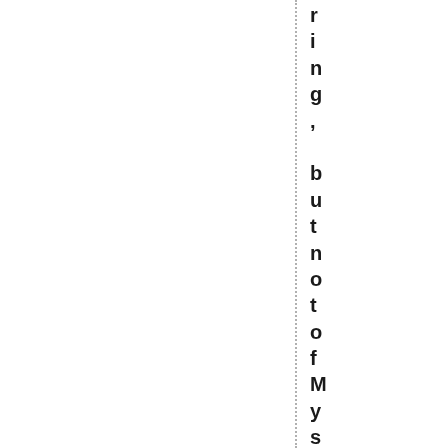ring, but not of My spirit. (They ac